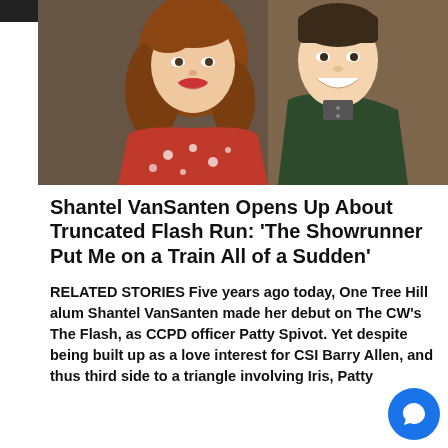[Figure (photo): Two people smiling together — a young woman in a red patterned sweater and a young man in a dark green jacket]
Shantel VanSanten Opens Up About Truncated Flash Run: 'The Showrunner Put Me on a Train All of a Sudden'
RELATED STORIES Five years ago today, One Tree Hill alum Shantel VanSanten made her debut on The CW's The Flash, as CCPD officer Patty Spivot. Yet despite being built up as a love interest for CSI Barry Allen, and thus third side to a triangle involving Iris, Patty